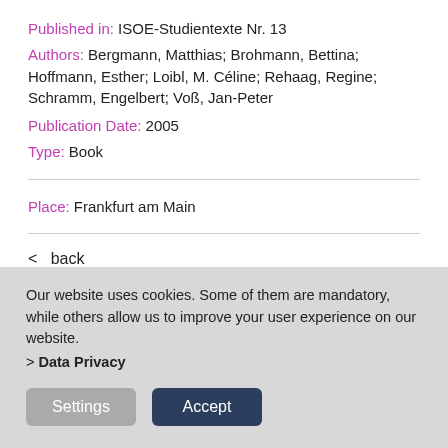Published in: ISOE-Studientexte Nr. 13
Authors: Bergmann, Matthias; Brohmann, Bettina; Hoffmann, Esther; Loibl, M. Céline; Rehaag, Regine; Schramm, Engelbert; Voß, Jan-Peter
Publication Date: 2005
Type: Book
Place: Frankfurt am Main
< back
Our website uses cookies. Some of them are mandatory, while others allow us to improve your user experience on our website. > Data Privacy